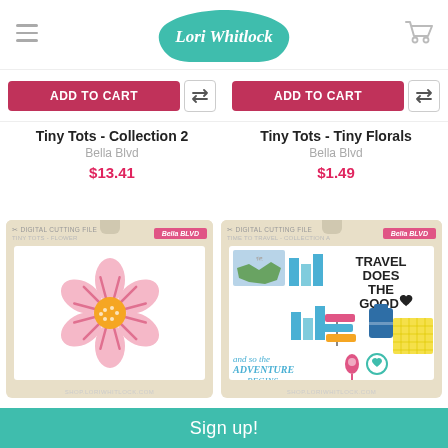Lori Whitlock
ADD TO CART | ADD TO CART
Tiny Tots - Collection 2
Bella Blvd
$13.41
Tiny Tots - Tiny Florals
Bella Blvd
$1.49
[Figure (illustration): Product packaging for Tiny Tots - Flower digital cutting file by Bella Blvd, showing a pink flower with orange center on white background]
[Figure (illustration): Product packaging for Time to Travel - Collection digital cutting file by Bella Blvd, showing travel-themed stickers including US map, buildings, directional sign, luggage, and text 'TRAVEL DOES THE GOOD' and 'and so the ADVENTURE BEGINS']
Sign up!